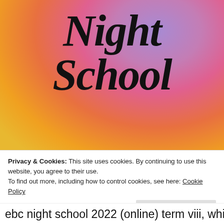[Figure (illustration): Colorful gradient background image with pink, purple, orange, and yellow tones serving as the backdrop for the 'Night School' title text]
Night School
Privacy & Cookies: This site uses cookies. By continuing to use this website, you agree to their use.
To find out more, including how to control cookies, see here: Cookie Policy
Close and accept
ebc night school 2022 (online) term viii, which will